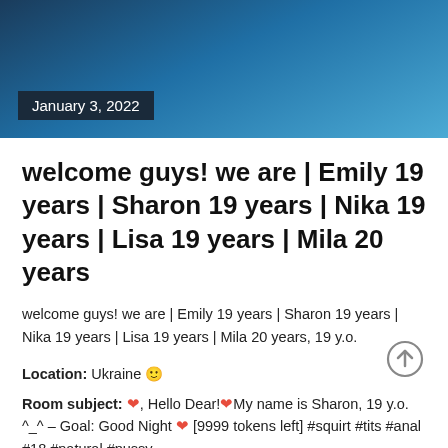[Figure (photo): Blue gradient header banner background]
January 3, 2022
welcome guys! we are | Emily 19 years | Sharon 19 years | Nika 19 years | Lisa 19 years | Mila 20 years
welcome guys! we are | Emily 19 years | Sharon 19 years | Nika 19 years | Lisa 19 years | Mila 20 years, 19 y.o.
Location: Ukraine 🙂
Room subject: ❤️, Hello Dear!❤️My name is Sharon, 19 y.o. ^_^ – Goal: Good Night ❤️ [9999 tokens left] #squirt #tits #anal #18 #natural #pussy